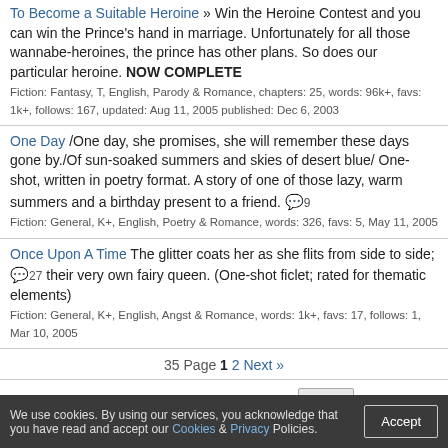To Become a Suitable Heroine » Win the Heroine Contest and you can win the Prince's hand in marriage. Unfortunately for all those wannabe-heroines, the prince has other plans. So does our particular heroine. NOW COMPLETE
Fiction: Fantasy, T, English, Parody & Romance, chapters: 25, words: 96k+, favs: 1k+, follows: 167, updated: Aug 11, 2005 published: Dec 6, 2003
One Day /One day, she promises, she will remember these days gone by./Of sun-soaked summers and skies of desert blue/ One-shot, written in poetry format. A story of one of those lazy, warm summers and a birthday present to a friend.
Fiction: General, K+, English, Poetry & Romance, words: 326, favs: 5, May 11, 2005
Once Upon A Time The glitter coats her as she flits from side to side; their very own fairy queen. (One-shot ficlet; rated for thematic elements)
Fiction: General, K+, English, Angst & Romance, words: 1k+, favs: 17, follows: 1, Mar 10, 2005
35 Page 1 2 Next »
Author: Follow Favorite Go
All Category Sort: Updated Go
We use cookies. By using our services, you acknowledge that you have read and accept our Cookies & Privacy Policies. Accept